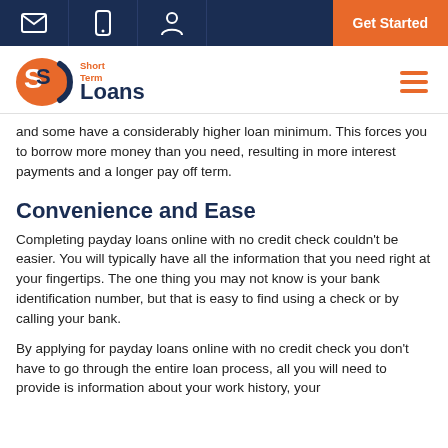Short Term Loans — Get Started
and some have a considerably higher loan minimum. This forces you to borrow more money than you need, resulting in more interest payments and a longer pay off term.
Convenience and Ease
Completing payday loans online with no credit check couldn't be easier. You will typically have all the information that you need right at your fingertips. The one thing you may not know is your bank identification number, but that is easy to find using a check or by calling your bank.
By applying for payday loans online with no credit check you don't have to go through the entire loan process, all you will need to provide is information about your work history, your